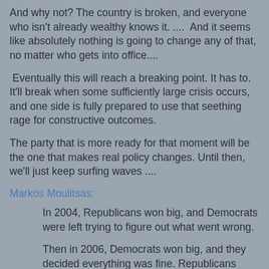And why not? The country is broken, and everyone who isn't already wealthy knows it. ....  And it seems like absolutely nothing is going to change any of that, no matter who gets into office....
Eventually this will reach a breaking point. It has to. It'll break when some sufficiently large crisis occurs, and one side is fully prepared to use that seething rage for constructive outcomes.
The party that is more ready for that moment will be the one that makes real policy changes. Until then, we'll just keep surfing waves ....
Markos Moulitsas:
In 2004, Republicans won big, and Democrats were left trying to figure out what went wrong.
Then in 2006, Democrats won big, and they decided everything was fine. Republicans merely shrugged it off as the 6-year-itch that bedevils